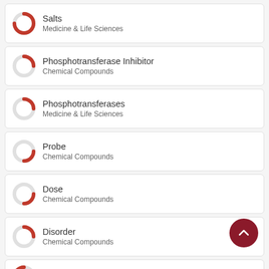Salts
Medicine & Life Sciences
Phosphotransferase Inhibitor
Chemical Compounds
Phosphotransferases
Medicine & Life Sciences
Probe
Chemical Compounds
Dose
Chemical Compounds
Disorder
Chemical Compounds
Metabolic